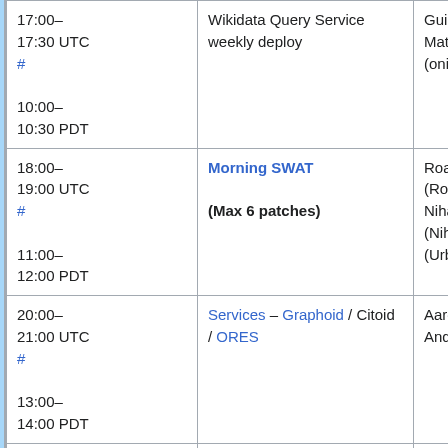| Time | Event | Person |
| --- | --- | --- |
| 17:00–17:30 UTC # 10:00–10:30 PDT | Wikidata Query Service weekly deploy | Guillaume Mathew (onimi... |
| 18:00–19:00 UTC # 11:00–12:00 PDT | Morning SWAT (Max 6 patches) | Roan (Roank... Niharik... (Nihar... (Urban... |
| 20:00–21:00 UTC # 13:00–14:00 PDT | Services – Graphoid / Citoid / ORES | Aaron (... Andy (a... |
| 21:00–23:00 UTC # 14:00– | Weekly Security deployment window | Sam (R... (sbass... |